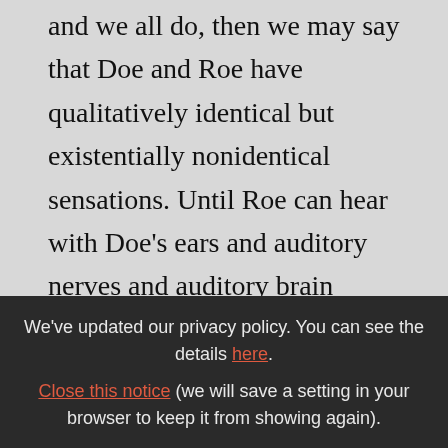and we all do, then we may say that Doe and Roe have qualitatively identical but existentially nonidentical sensations. Until Roe can hear with Doe's ears and auditory nerves and auditory brain centers, he will never experience Doe's auditory sensations. Similarly with the mystic vision. If one man has such a vision, he is not made uneasy the fact that another does not have it. The other man has
We've updated our privacy policy. You can see the details here. Close this notice (we will save a setting in your browser to keep it from showing again).